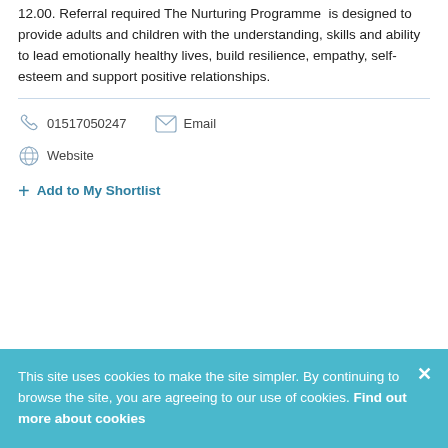12.00. Referral required The Nurturing Programme is designed to provide adults and children with the understanding, skills and ability to lead emotionally healthy lives, build resilience, empathy, self-esteem and support positive relationships.
01517050247
Email
Website
+ Add to My Shortlist
This site uses cookies to make the site simpler. By continuing to browse the site, you are agreeing to our use of cookies. Find out more about cookies